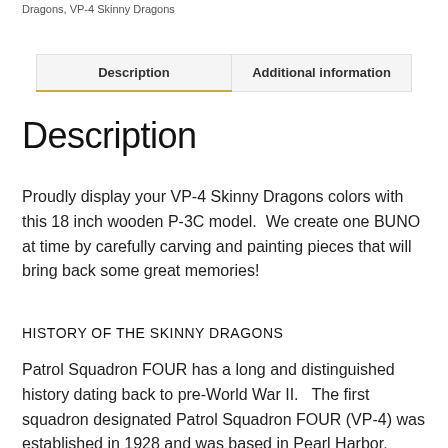Dragons, VP-4 Skinny Dragons
| Description | Additional information |
| --- | --- |
Description
Proudly display your VP-4 Skinny Dragons colors with this 18 inch wooden P-3C model.  We create one BUNO at time by carefully carving and painting pieces that will bring back some great memories!
HISTORY OF THE SKINNY DRAGONS
Patrol Squadron FOUR has a long and distinguished history dating back to pre-World War II.   The first squadron designated Patrol Squadron FOUR (VP-4) was established in 1928 and was based in Pearl Harbor, Hawaii. Re-designated Patrol Squadron TWENTY-TWO (VP-22) in 1938, the squadron was nearly destroyed during the Japanese attack on 7 December, 1941